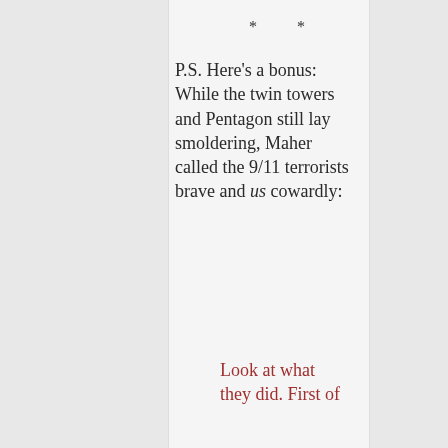*   *
P.S. Here's a bonus: While the twin towers and Pentagon still lay smoldering, Maher called the 9/11 terrorists brave and us cowardly:
Look at what they did. First of